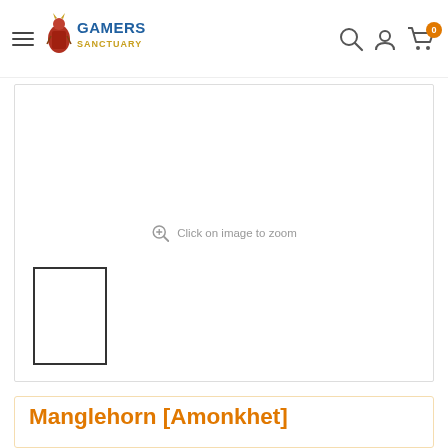Gamers Sanctuary navigation bar with logo, search, account, and cart icons
[Figure (photo): Product image placeholder with 'Click on image to zoom' prompt and a blank white rectangle thumbnail below]
Manglehorn [Amonkhet]